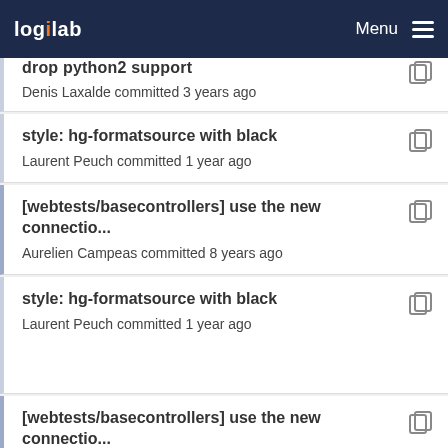Logilab Menu
drop python2 support — Denis Laxalde committed 3 years ago
style: hg-formatsource with black — Laurent Peuch committed 1 year ago
[webtests/basecontrollers] use the new connectio... — Aurelien Campeas committed 8 years ago
style: hg-formatsource with black — Laurent Peuch committed 1 year ago
[webtests/basecontrollers] use the new connectio... — Aurelien Campeas committed 8 years ago